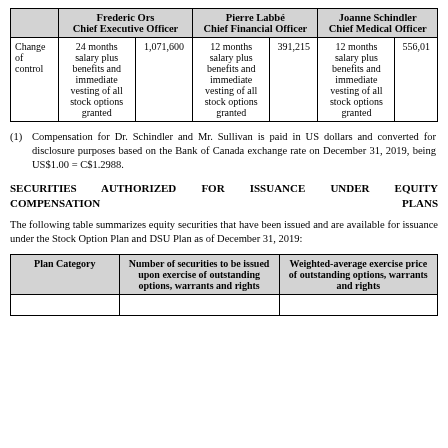|  | Frederic Ors Chief Executive Officer |  | Pierre Labbé Chief Financial Officer |  | Joanne Schindler Chief Medical Officer |  |
| --- | --- | --- | --- | --- | --- | --- |
| Change of control | 24 months salary plus benefits and immediate vesting of all stock options granted | 1,071,600 | 12 months salary plus benefits and immediate vesting of all stock options granted | 391,215 | 12 months salary plus benefits and immediate vesting of all stock options granted | 556,01 |
(1) Compensation for Dr. Schindler and Mr. Sullivan is paid in US dollars and converted for disclosure purposes based on the Bank of Canada exchange rate on December 31, 2019, being US$1.00 = C$1.2988.
SECURITIES AUTHORIZED FOR ISSUANCE UNDER EQUITY COMPENSATION PLANS
The following table summarizes equity securities that have been issued and are available for issuance under the Stock Option Plan and DSU Plan as of December 31, 2019:
| Plan Category | Number of securities to be issued upon exercise of outstanding options, warrants and rights | Weighted-average exercise price of outstanding options, warrants and rights |
| --- | --- | --- |